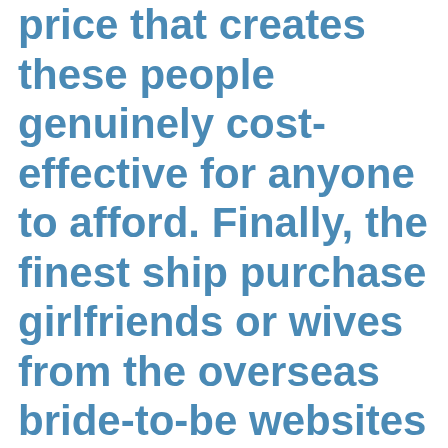price that creates these people genuinely cost-effective for anyone to afford. Finally, the finest ship purchase girlfriends or wives from the overseas bride-to-be websites are definitely the types who all are generally over the world. It really is simple to use this company because you can look for girls via numerous parts of the world and marry to them.
To look for ideal bride meant for marital relationship is definitely a difficult activity. It is so since each of the bride